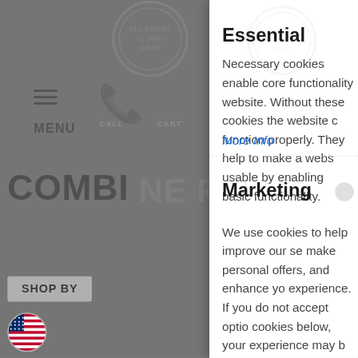[Figure (screenshot): Background of a dimmed e-commerce website showing hamburger menu, MENU label, COMBINE text, NE PARTS watermark text, SHOP BY button, and a US flag icon. The background is grayed out behind a cookie consent modal overlay.]
Essential
Necessary cookies enable core functionality website. Without these cookies the website c function properly. They help to make a webs usable by enabling basic functionality.
More Info
Marketing
We use cookies to help improve our se make personal offers, and enhance yo experience. If you do not accept optio cookies below, your experience may b